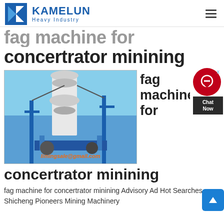KAMELUN Heavy Industry
fag machine for concertrator minining
[Figure (photo): Industrial mining machinery/concentrator tower photographed from below against blue sky, with steel scaffolding and blue structural supports. Watermark text: limingsale@gmail.com]
fag machine for
concertrator minining
fag machine for concertrator minining Advisory Ad Hot Searches Shicheng Pioneers Mining Machinery